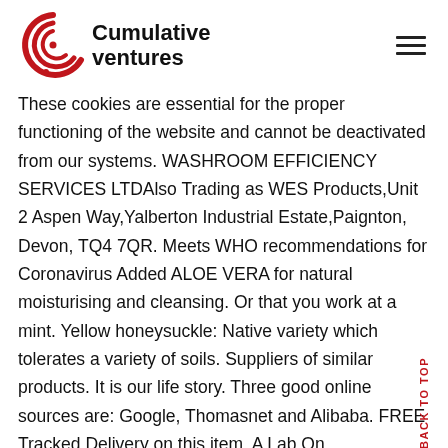[Figure (logo): Cumulative Ventures logo with red circular arrow icon and company name in black]
These cookies are essential for the proper functioning of the website and cannot be deactivated from our systems. WASHROOM EFFICIENCY SERVICES LTDAlso Trading as WES Products,Unit 2 Aspen Way,Yalberton Industrial Estate,Paignton, Devon, TQ4 7QR. Meets WHO recommendations for Coronavirus Added ALOE VERA for natural moisturising and cleansing. Or that you work at a mint. Yellow honeysuckle: Native variety which tolerates a variety of soils. Suppliers of similar products. It is our life story. Three good online sources are: Google, Thomasnet and Alibaba. FREE Tracked Delivery on this item. A Lab On